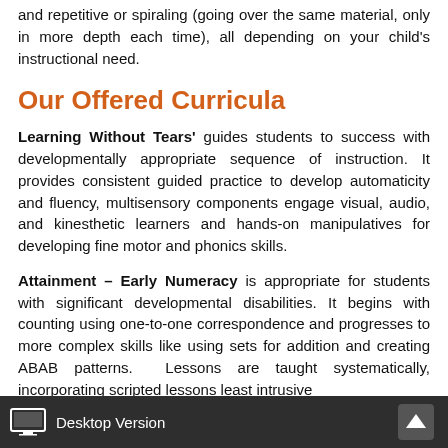and repetitive or spiraling (going over the same material, only in more depth each time), all depending on your child's instructional need.
Our Offered Curricula
Learning Without Tears' guides students to success with developmentally appropriate sequence of instruction. It provides consistent guided practice to develop automaticity and fluency, multisensory components engage visual, audio, and kinesthetic learners and hands-on manipulatives for developing fine motor and phonics skills.
Attainment – Early Numeracy is appropriate for students with significant developmental disabilities. It begins with counting using one-to-one correspondence and progresses to more complex skills like using sets for addition and creating ABAB patterns. Lessons are taught systematically, incorporating scripted lessons least intrusive
Desktop Version